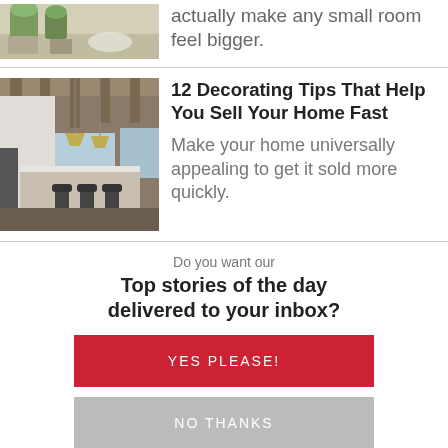[Figure (photo): Small room interior with potted plants on a table, partial view]
actually make any small room feel bigger.
[Figure (photo): Modern kitchen interior with wooden ceiling beams, island with bar stools, pendant lights]
12 Decorating Tips That Help You Sell Your Home Fast
Make your home universally appealing to get it sold more quickly.
Do you want our
Top stories of the day delivered to your inbox?
YES PLEASE!
NO THANKS